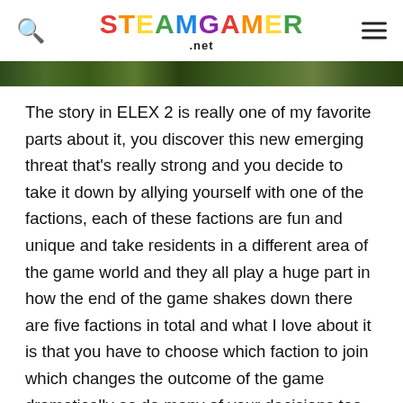STEAMGAMER .net
[Figure (photo): Dark greenish landscape or game screenshot strip at top of article]
The story in ELEX 2 is really one of my favorite parts about it, you discover this new emerging threat that’s really strong and you decide to take it down by allying yourself with one of the factions, each of these factions are fun and unique and take residents in a different area of the game world and they all play a huge part in how the end of the game shakes down there are five factions in total and what I love about it is that you have to choose which faction to join which changes the outcome of the game dramatically as do many of your decisions too, once you join a faction you’ll have access to their special equipment and trainers to let you learn skills specific to their people. The skill tree is pretty impressive